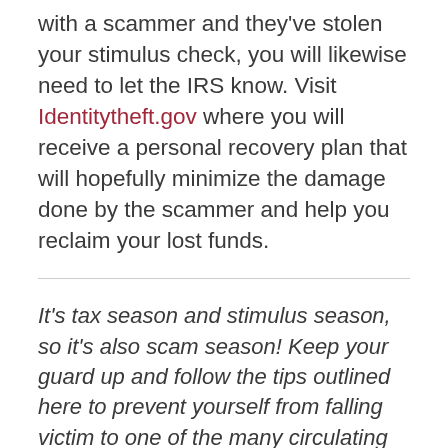with a scammer and they've stolen your stimulus check, you will likewise need to let the IRS know. Visit Identitytheft.gov where you will receive a personal recovery plan that will hopefully minimize the damage done by the scammer and help you reclaim your lost funds.
It's tax season and stimulus season, so it's also scam season! Keep your guard up and follow the tips outlined here to prevent yourself from falling victim to one of the many circulating scams. Stay safe!